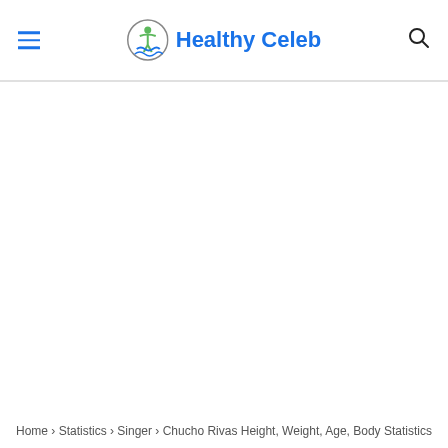Healthy Celeb
Home › Statistics › Singer › Chucho Rivas Height, Weight, Age, Body Statistics